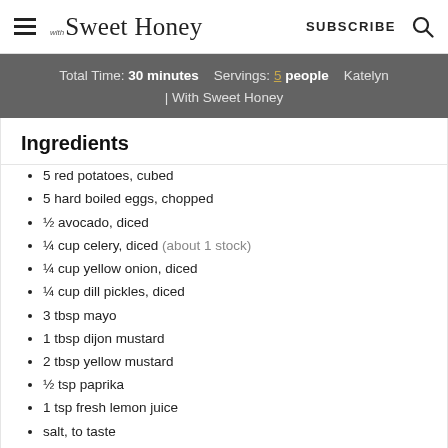with Sweet Honey | SUBSCRIBE
Total Time: 30 minutes  Servings: 5 people  Katelyn | With Sweet Honey
Ingredients
5 red potatoes, cubed
5 hard boiled eggs, chopped
½ avocado, diced
¼ cup celery, diced (about 1 stock)
¼ cup yellow onion, diced
¼ cup dill pickles, diced
3 tbsp mayo
1 tbsp dijon mustard
2 tbsp yellow mustard
½ tsp paprika
1 tsp fresh lemon juice
salt, to taste
pepper, to taste